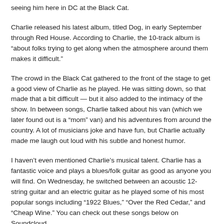seeing him here in DC at the Black Cat.
Charlie released his latest album, titled Dog, in early September through Red House. According to Charlie, the 10-track album is “about folks trying to get along when the atmosphere around them makes it difficult.”
The crowd in the Black Cat gathered to the front of the stage to get a good view of Charlie as he played. He was sitting down, so that made that a bit difficult — but it also added to the intimacy of the show. In between songs, Charlie talked about his van (which we later found out is a “mom” van) and his adventures from around the country. A lot of musicians joke and have fun, but Charlie actually made me laugh out loud with his subtle and honest humor.
I haven’t even mentioned Charlie’s musical talent. Charlie has a fantastic voice and plays a blues/folk guitar as good as anyone you will find. On Wednesday, he switched between an acoustic 12-string guitar and an electric guitar as he played some of his most popular songs including “1922 Blues,” “Over the Red Cedar,” and “Cheap Wine.” You can check out these songs below on Soundcloud.
One thing that struck me is that Charlie really does this because he